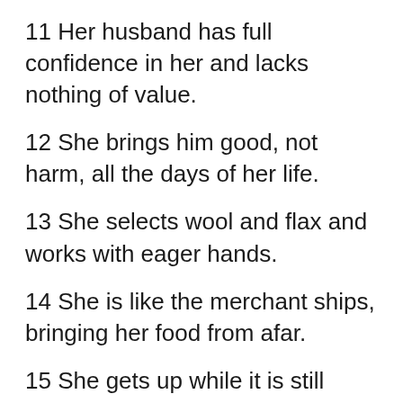11 Her husband has full confidence in her and lacks nothing of value.
12 She brings him good, not harm, all the days of her life.
13 She selects wool and flax and works with eager hands.
14 She is like the merchant ships, bringing her food from afar.
15 She gets up while it is still night; she provides food for her family and portions for her female servants.
16 She considers a field and buys it;